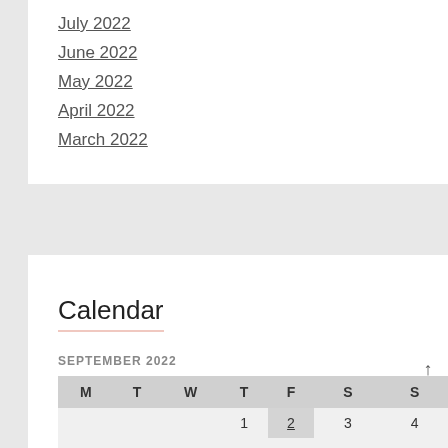July 2022
June 2022
May 2022
April 2022
March 2022
Calendar
SEPTEMBER 2022
| M | T | W | T | F | S | S |
| --- | --- | --- | --- | --- | --- | --- |
|  |  |  | 1 | 2 | 3 | 4 |
| 5 | 6 | 7 | 8 | 9 | 10 | 11 |